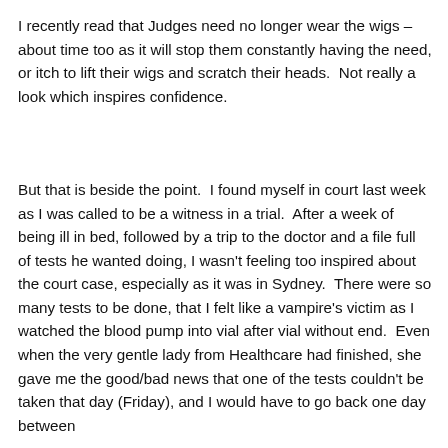I recently read that Judges need no longer wear the wigs – about time too as it will stop them constantly having the need, or itch to lift their wigs and scratch their heads.  Not really a look which inspires confidence.
But that is beside the point.  I found myself in court last week as I was called to be a witness in a trial.  After a week of being ill in bed, followed by a trip to the doctor and a file full of tests he wanted doing, I wasn't feeling too inspired about the court case, especially as it was in Sydney.  There were so many tests to be done, that I felt like a vampire's victim as I watched the blood pump into vial after vial without end.  Even when the very gentle lady from Healthcare had finished, she gave me the good/bad news that one of the tests couldn't be taken that day (Friday), and I would have to go back one day between